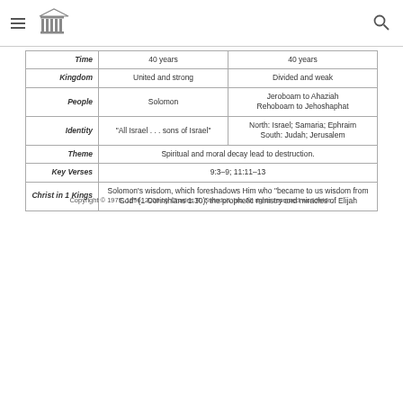Navigation header with hamburger menu, logo, and search icon
|  | Column 1 | Column 2 |
| --- | --- | --- |
| Time | 40 years | 40 years |
| Kingdom | United and strong | Divided and weak |
| People | Solomon | Jeroboam to Ahaziah
Rehoboam to Jehoshaphat |
| Identity | "All Israel . . . sons of Israel" | North: Israel; Samaria; Ephraim
South: Judah; Jerusalem |
| Theme | Spiritual and moral decay lead to destruction. |  |
| Key Verses | 9:3–9; 11:11–13 |  |
| Christ in 1 Kings | Solomon's wisdom, which foreshadows Him who "became to us wisdom from God" (1 Corinthians 1:30); the prophetic ministry and miracles of Elijah |  |
Copyright © 1979, 1996, 2009 by Charles R. Swindoll, Inc. All rights reserved worldwide.